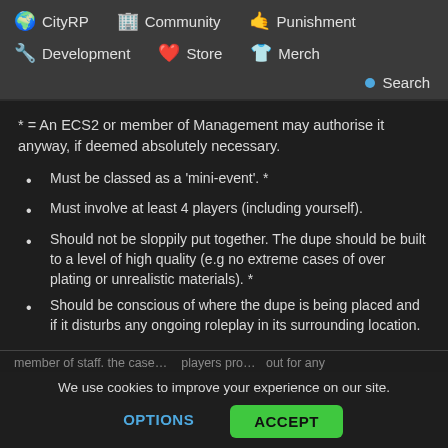🌍 CityRP   🏢 Community   🤙 Punishment   🔧 Development   ❤️ Store   👕 Merch   🔵 Search
* = An ECS2 or member of Management may authorise it anyway, if deemed absolutely necessary.
Must be classed as a 'mini-event'. *
Must involve at least 4 players (including yourself).
Should not be sloppily put together. The dupe should be built to a level of high quality (e.g no extreme cases of over plating or unrealistic materials). *
Should be conscious of where the dupe is being placed and if it disturbs any ongoing roleplay in its surrounding location.
We use cookies to improve your experience on our site.
member of staff. the case... ...players pro... ...out for any
OPTIONS   ACCEPT